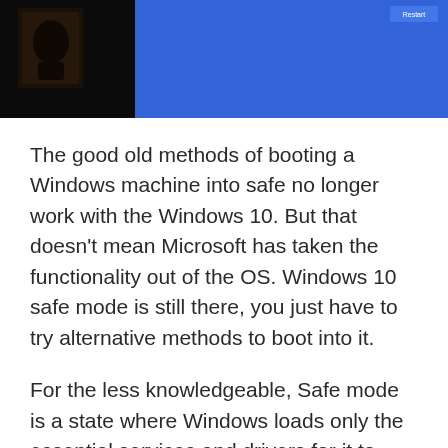[Figure (screenshot): A screenshot showing two panels: left panel is dark/black with a face silhouette, right panel is a bright blue Windows 10 screen with a Restart button visible in the upper right corner.]
The good old methods of booting a Windows machine into safe no longer work with the Windows 10. But that doesn't mean Microsoft has taken the functionality out of the OS. Windows 10 safe mode is still there, you just have to try alternative methods to boot into it.
For the less knowledgeable, Safe mode is a state where Windows loads only the essential services and drivers for it to function. This